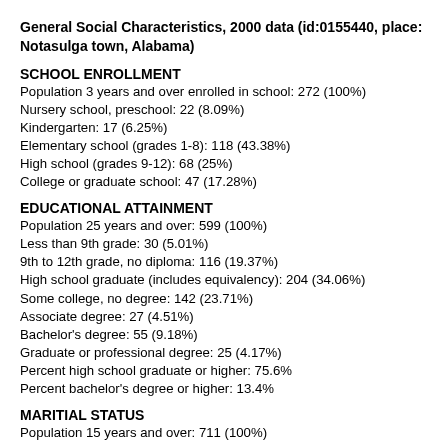General Social Characteristics, 2000 data (id:0155440, place: Notasulga town, Alabama)
SCHOOL ENROLLMENT
Population 3 years and over enrolled in school: 272 (100%)
Nursery school, preschool: 22 (8.09%)
Kindergarten: 17 (6.25%)
Elementary school (grades 1-8): 118 (43.38%)
High school (grades 9-12): 68 (25%)
College or graduate school: 47 (17.28%)
EDUCATIONAL ATTAINMENT
Population 25 years and over: 599 (100%)
Less than 9th grade: 30 (5.01%)
9th to 12th grade, no diploma: 116 (19.37%)
High school graduate (includes equivalency): 204 (34.06%)
Some college, no degree: 142 (23.71%)
Associate degree: 27 (4.51%)
Bachelor's degree: 55 (9.18%)
Graduate or professional degree: 25 (4.17%)
Percent high school graduate or higher: 75.6%
Percent bachelor's degree or higher: 13.4%
MARITIAL STATUS
Population 15 years and over: 711 (100%)